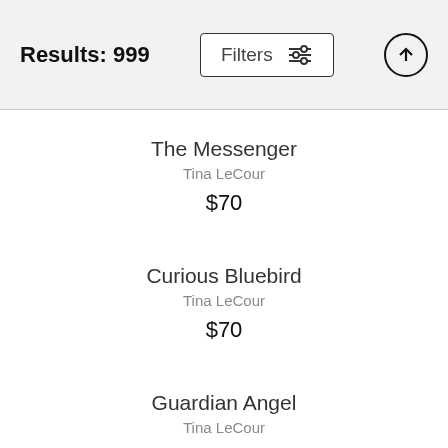Results: 999 | Filters
The Messenger
Tina LeCour
$70
Curious Bluebird
Tina LeCour
$70
Guardian Angel
Tina LeCour